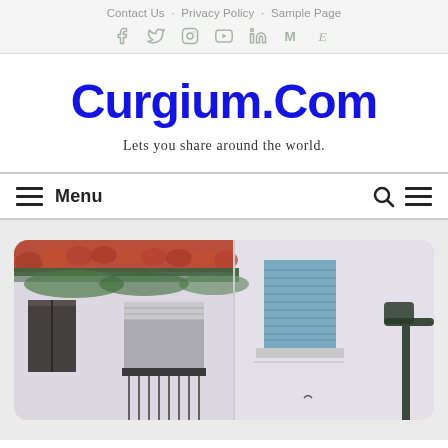Contact Us · Privacy Policy · Sample Page
Curgium.Com
Lets you share around the world.
Menu
[Figure (photo): Exterior of a European building with terracotta tile roof, white walls, shuttered windows — one with blue shutters on the right side, a street lamp visible at right edge.]